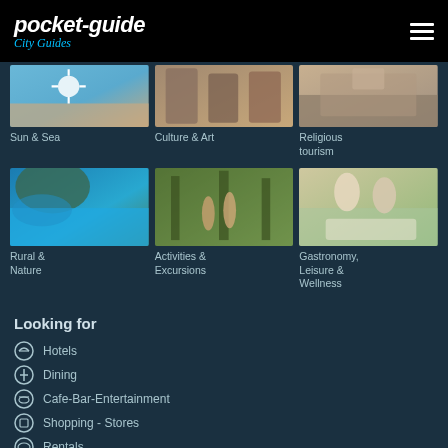pocket-guide City Guides
[Figure (photo): Sun & Sea category thumbnail - beach scene]
Sun & Sea
[Figure (photo): Culture & Art category thumbnail - sculptures]
Culture & Art
[Figure (photo): Religious tourism category thumbnail - stone/religious site]
Religious tourism
[Figure (photo): Rural & Nature category thumbnail - coastal cliffs and blue water]
Rural & Nature
[Figure (photo): Activities & Excursions category thumbnail - hikers in forest]
Activities & Excursions
[Figure (photo): Gastronomy, Leisure & Wellness category thumbnail - couple dining]
Gastronomy, Leisure & Wellness
Looking for
Hotels
Dining
Cafe-Bar-Entertainment
Shopping - Stores
Rentals
Attractions